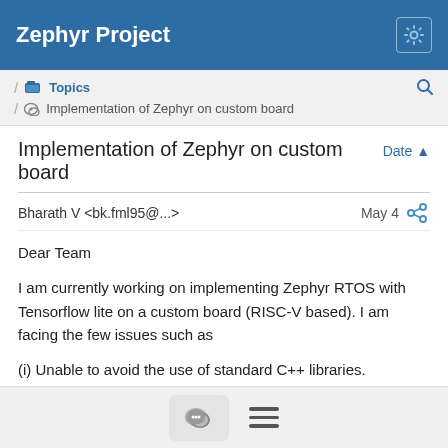Zephyr Project
/ Topics / Implementation of Zephyr on custom board
Implementation of Zephyr on custom board
Bharath V <bk.fml95@...>   May 4
Dear Team

I am currently working on implementing Zephyr RTOS with Tensorflow lite on a custom board (RISC-V based). I am facing the few issues such as

(i) Unable to avoid the use of standard C++ libraries.
(ii) Can we build the code without any board dependencies in